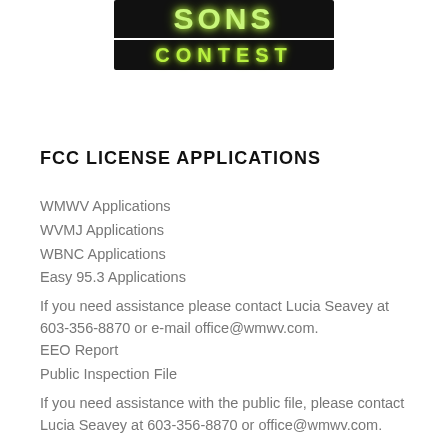[Figure (logo): SONS Contest logo with green glowing text on black background, two-line banner: top line shows station call letters, bottom line shows 'CONTEST']
FCC LICENSE APPLICATIONS
WMWV Applications
WVMJ Applications
WBNC Applications
Easy 95.3 Applications
If you need assistance please contact Lucia Seavey at 603-356-8870 or e-mail office@wmwv.com.
EEO Report
Public Inspection File
If you need assistance with the public file, please contact Lucia Seavey at 603-356-8870 or office@wmwv.com.